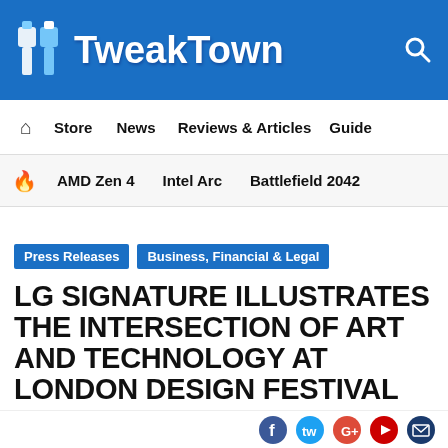TweakTown
Store | News | Reviews & Articles | Guide
AMD Zen 4 | Intel Arc | Battlefield 2042
Press Releases   Business, Financial & Legal
LG SIGNATURE ILLUSTRATES THE INTERSECTION OF ART AND TECHNOLOGY AT LONDON DESIGN FESTIVAL
Sep 26, 2019 5:58 PM CDT